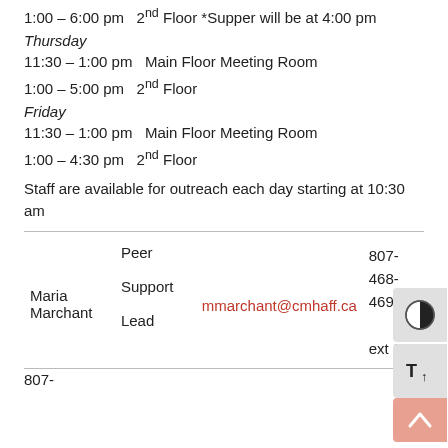1:00 – 6:00 pm   2nd Floor *Supper will be at 4:00 pm
Thursday
11:30 – 1:00 pm   Main Floor Meeting Room
1:00 – 5:00 pm   2nd Floor
Friday
11:30 – 1:00 pm   Main Floor Meeting Room
1:00 – 4:30 pm   2nd Floor
Staff are available for outreach each day starting at 10:30 am
| Name | Role | Email | Phone |
| --- | --- | --- | --- |
| Maria Marchant | Peer Support Lead | mmarchant@cmhaff.ca | 807-468-4699 ext 205 |
807-